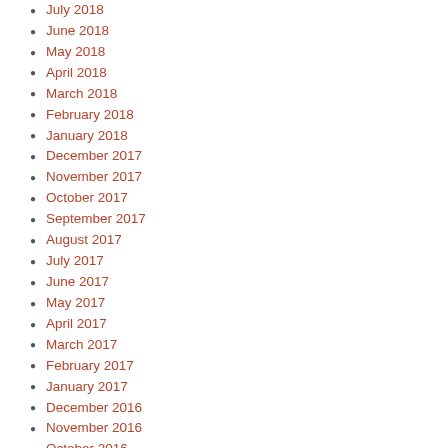July 2018
June 2018
May 2018
April 2018
March 2018
February 2018
January 2018
December 2017
November 2017
October 2017
September 2017
August 2017
July 2017
June 2017
May 2017
April 2017
March 2017
February 2017
January 2017
December 2016
November 2016
October 2016
September 2016
August 2016
July 2016
June 2016
May 2016
April 2016